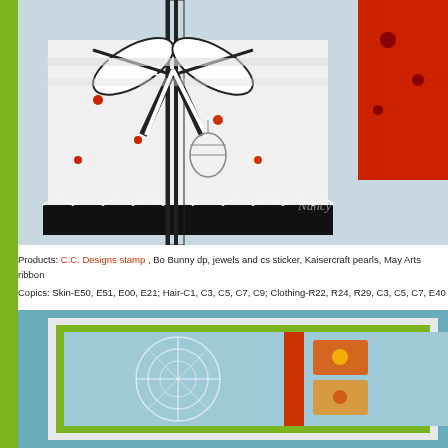[Figure (photo): Close-up photo of a decorative paper craft gift box with black and white striped ribbon bow, floral pattern paper with red flowers and black branches, birdcage motifs, and scalloped black border at the bottom. Red decorative element visible on right side. Watermark visible in lower right.]
Products: C.C. Designs stamp , Bo Bunny dp, jewels and cs sticker, Kaisercraft pearls, May Arts ribbon
Copics: Skin-E50, E51, E00, E21; Hair-C1, C3, C5, C7, C9; Clothing-R22, R24, R29, C3, C5, C7, E40
[Figure (photo): Partial photo of a card or scrapbook layout featuring a light blue background with white snowflake/circular stamp design, green and red striped border, and Japanese-style decorative paper with orange/red and teal patterns.]